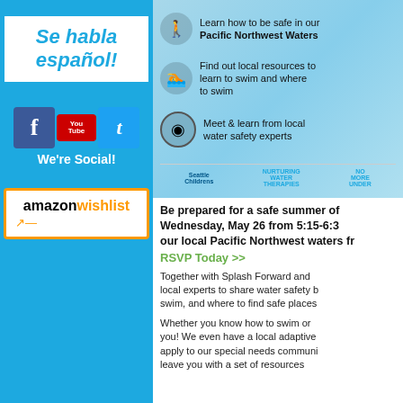Se habla español!
[Figure (logo): Social media icons: Facebook, YouTube, Twitter with 'We're Social!' label]
[Figure (logo): Amazon Wishlist logo in orange border box]
[Figure (infographic): Water safety event infographic with icons for Pacific Northwest Waters safety, swimming resources, and water safety experts, with sponsor logos: Seattle Children's, Nurturing Water Therapies, No More Under]
Be prepared for a safe summer of Wednesday, May 26 from 5:15-6:3 our local Pacific Northwest waters fr
RSVP Today >>
Together with Splash Forward and local experts to share water safety b swim, and where to find safe places
Whether you know how to swim or you! We even have a local adaptive apply to our special needs communi leave you with a set of resources